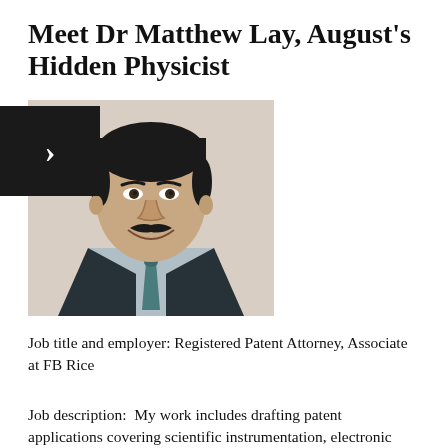Meet Dr Matthew Lay, August's Hidden Physicist
[Figure (photo): Headshot of Dr Matthew Lay, a young Asian man with short dark hair and a moustache, wearing a dark suit jacket, light blue shirt, and teal tie, smiling against a light beige background.]
Job title and employer: Registered Patent Attorney, Associate at FB Rice
Job description:  My work includes drafting patent applications covering scientific instrumentation, electronic